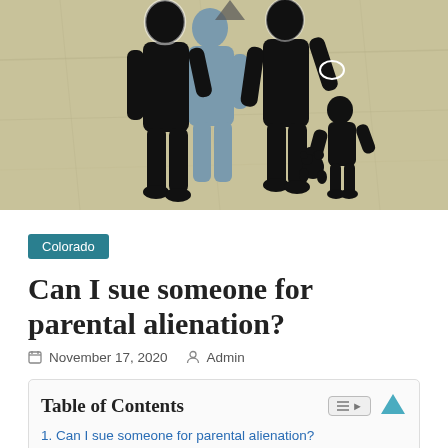[Figure (illustration): Stylized black silhouette illustration of two adults and a child with a teddy bear on a tan/olive textured background. One adult figure is grey/blue. Depicts a custody/parental alienation scene.]
Colorado
Can I sue someone for parental alienation?
November 17, 2020   Admin
Table of Contents
1. Can I sue someone for parental alienation?